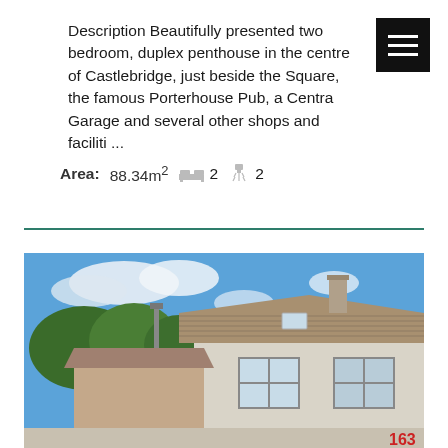Description Beautifully presented two bedroom, duplex penthouse in the centre of Castlebridge, just beside the Square, the famous Porterhouse Pub, a Centra Garage and several other shops and faciliti ...
Area: 88.34m² 🛏 2 🚿 2
[Figure (photo): Exterior photograph of a residential house with brick and rendered walls, tiled roof, white-framed windows, a lamp post, trees in the background, and blue sky with clouds.]